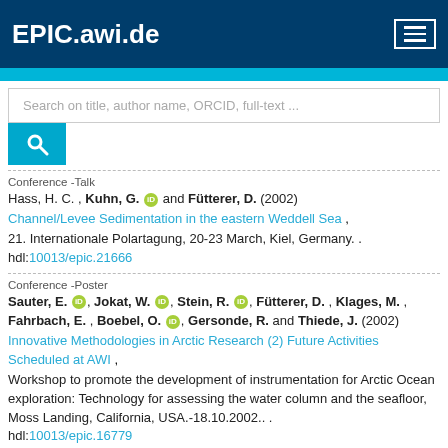EPIC.awi.de
Search on title, author name, ORCID, full-text ...
Conference -Talk
Hass, H. C. , Kuhn, G. and Fütterer, D. (2002)
Channel/Levee Sedimentation in the eastern Weddell Sea ,
21. Internationale Polartagung, 20-23 March, Kiel, Germany. .
hdl:10013/epic.21666
Conference -Poster
Sauter, E. , Jokat, W. , Stein, R. , Fütterer, D. , Klages, M. ,
Fahrbach, E. , Boebel, O. , Gersonde, R. and Thiede, J. (2002)
Innovative Methodologies in Arctic Research (2) Future Activities Scheduled at AWI ,
Workshop to promote the development of instrumentation for Arctic Ocean exploration: Technology for assessing the water column and the seafloor, Moss Landing, California, USA.-18.10.2002.. .
hdl:10013/epic.16779